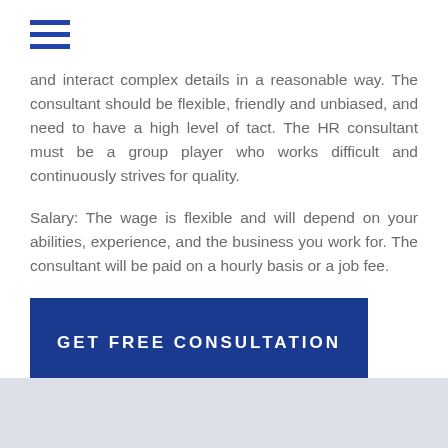[Figure (other): Hamburger menu icon with three horizontal blue lines]
and interact complex details in a reasonable way. The consultant should be flexible, friendly and unbiased, and need to have a high level of tact. The HR consultant must be a group player who works difficult and continuously strives for quality.

Salary: The wage is flexible and will depend on your abilities, experience, and the business you work for. The consultant will be paid on a hourly basis or a job fee.
GET FREE CONSULTATION